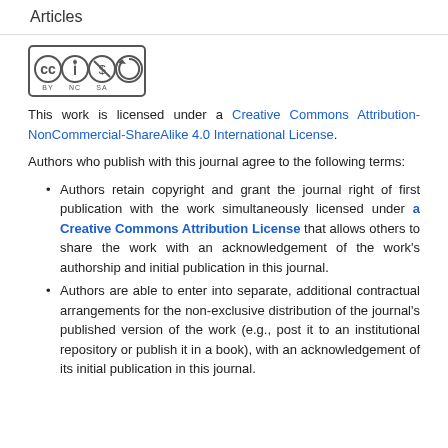Articles
[Figure (logo): Creative Commons license icons: CC BY NC SA]
This work is licensed under a Creative Commons Attribution-NonCommercial-ShareAlike 4.0 International License.
Authors who publish with this journal agree to the following terms:
Authors retain copyright and grant the journal right of first publication with the work simultaneously licensed under a Creative Commons Attribution License that allows others to share the work with an acknowledgement of the work's authorship and initial publication in this journal.
Authors are able to enter into separate, additional contractual arrangements for the non-exclusive distribution of the journal's published version of the work (e.g., post it to an institutional repository or publish it in a book), with an acknowledgement of its initial publication in this journal.